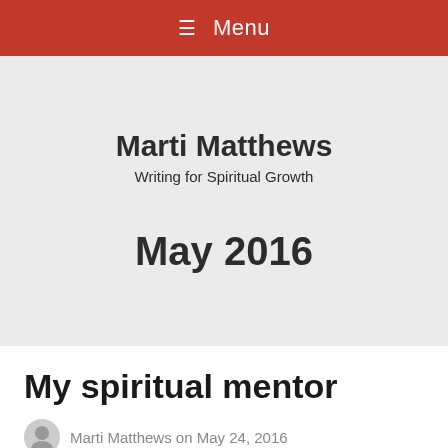≡ Menu
Marti Matthews
Writing for Spiritual Growth
May 2016
My spiritual mentor
Marti Matthews on May 24, 2016